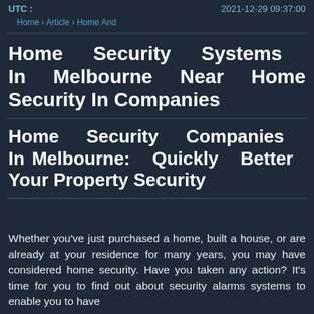UTC :   2021-12-29 09:37:00
Home › Article › Home And
Home Security Systems In Melbourne Near Home Security In Companies
Home Security Companies In Melbourne: Quickly Better Your Property Security
Whether you've just purchased a home, built a house, or are already at your residence for many years, you may have considered home security. Have you taken any action? It's time for you to find out about security alarms systems to enable you to have